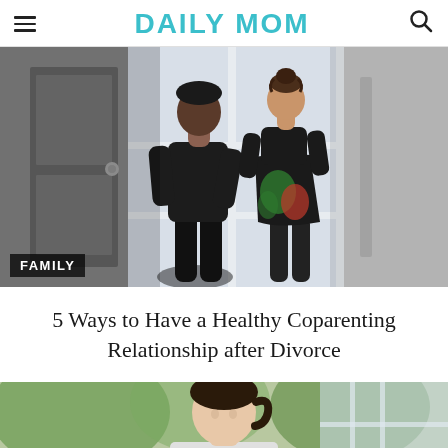DAILY MOM
[Figure (photo): Two children seen from behind standing at a door with glass panels letting in light. A boy in a dark t-shirt on the left and a girl in a colorful dress with hair in a bun on the right. 'FAMILY' label overlaid at the bottom left.]
5 Ways to Have a Healthy Coparenting Relationship after Divorce
[Figure (photo): Partial view of a woman with dark hair in a ponytail, outdoors with greenery in the background.]